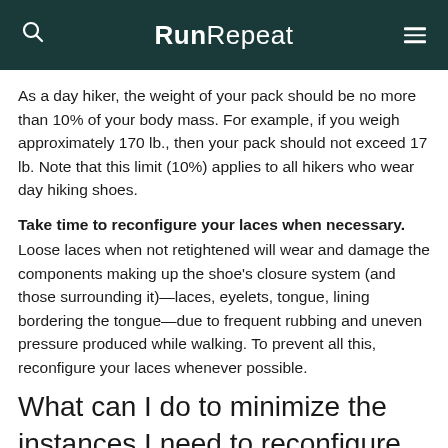RunRepeat
As a day hiker, the weight of your pack should be no more than 10% of your body mass. For example, if you weigh approximately 170 lb., then your pack should not exceed 17 lb. Note that this limit (10%) applies to all hikers who wear day hiking shoes.
Take time to reconfigure your laces when necessary.
Loose laces when not retightened will wear and damage the components making up the shoe's closure system (and those surrounding it)—laces, eyelets, tongue, lining bordering the tongue—due to frequent rubbing and uneven pressure produced while walking. To prevent all this, reconfigure your laces whenever possible.
What can I do to minimize the instances I need to reconfigure my laces?
With standard laces, it will depend on how well you tie the